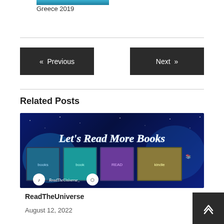[Figure (photo): Thumbnail image of Greece 2019 travel photo]
Greece 2019
[Figure (other): Previous navigation button with left arrow]
[Figure (other): Next navigation button with right arrow]
Related Posts
[Figure (photo): Banner image for ReadTheUniverse blog with text 'Let's Read More Books' on a dark blue galaxy background with book photos and social media icons (TikTok and Instagram) and handle ReadTheUniverse_]
ReadTheUniverse
August 12, 2022